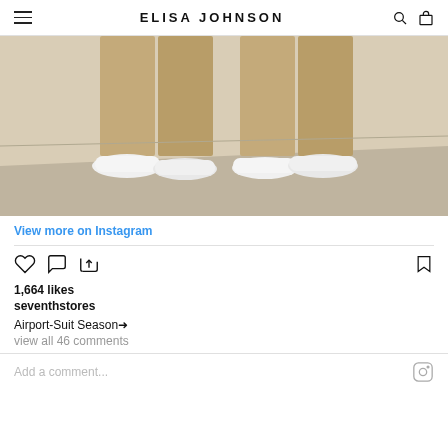ELISA JOHNSON
[Figure (photo): Fashion photo showing lower half of two people standing together wearing beige/tan trousers and white sneakers against a light beige/grey wall background]
View more on Instagram
1,664 likes
seventhstores
Airport-Suit Season➜
view all 46 comments
Add a comment...